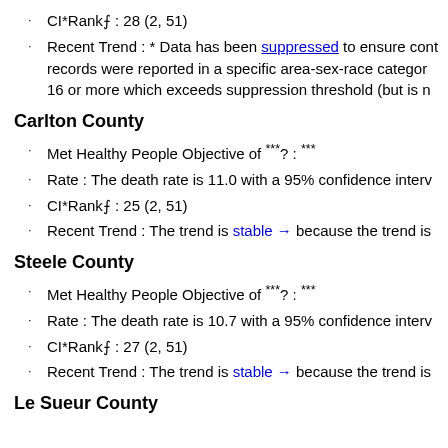CI*Rank⋔ : 28 (2, 51)
Recent Trend : * Data has been suppressed to ensure conf records were reported in a specific area-sex-race category 16 or more which exceeds suppression threshold (but is n
Carlton County
Met Healthy People Objective of ***? : ***
Rate : The death rate is 11.0 with a 95% confidence interv
CI*Rank⋔ : 25 (2, 51)
Recent Trend : The trend is stable → because the trend is
Steele County
Met Healthy People Objective of ***? : ***
Rate : The death rate is 10.7 with a 95% confidence interv
CI*Rank⋔ : 27 (2, 51)
Recent Trend : The trend is stable → because the trend is
Le Sueur County